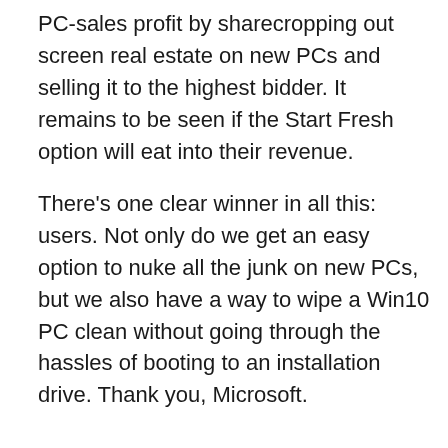PC-sales profit by sharecropping out screen real estate on new PCs and selling it to the highest bidder. It remains to be seen if the Start Fresh option will eat into their revenue.
There's one clear winner in all this: users. Not only do we get an easy option to nuke all the junk on new PCs, but we also have a way to wipe a Win10 PC clean without going through the hassles of booting to an installation drive. Thank you, Microsoft.
What is Safe Mode?
Safe mode used to be the gateway into the Windows inner workings: In earlier versions of Windows, if something went wrong, you booted into a very limited